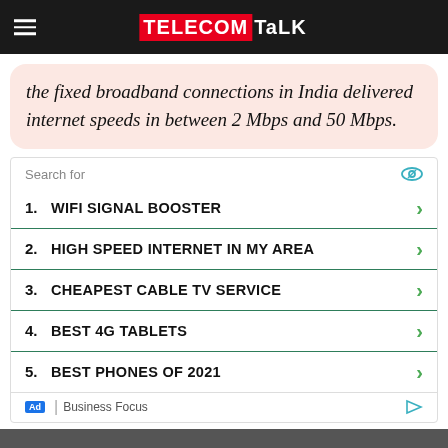TELECOMTALK
the fixed broadband connections in India delivered internet speeds in between 2 Mbps and 50 Mbps.
[Figure (other): Advertisement search widget with 5 list items: 1. WIFI SIGNAL BOOSTER, 2. HIGH SPEED INTERNET IN MY AREA, 3. CHEAPEST CABLE TV SERVICE, 4. BEST 4G TABLETS, 5. BEST PHONES OF 2021. Labeled 'Business Focus'.]
[Figure (photo): Partial image visible at bottom of page.]